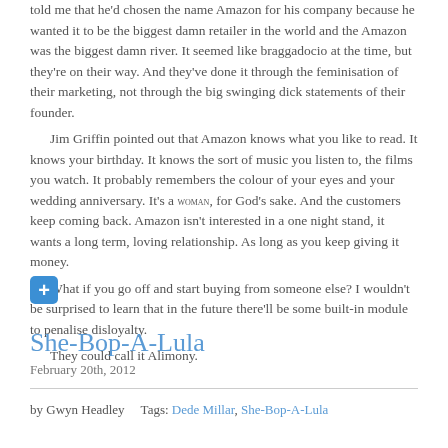told me that he'd chosen the name Amazon for his company because he wanted it to be the biggest damn retailer in the world and the Amazon was the biggest damn river. It seemed like braggadocio at the time, but they're on their way. And they've done it through the feminisation of their marketing, not through the big swinging dick statements of their founder.

Jim Griffin pointed out that Amazon knows what you like to read. It knows your birthday. It knows the sort of music you listen to, the films you watch. It probably remembers the colour of your eyes and your wedding anniversary. It's a woman, for God's sake. And the customers keep coming back. Amazon isn't interested in a one night stand, it wants a long term, loving relationship. As long as you keep giving it money.

What if you go off and start buying from someone else? I wouldn't be surprised to learn that in the future there'll be some built-in module to penalise disloyalty.

They could call it Alimony.
She-Bop-A-Lula
February 20th, 2012
by Gwyn Headley   Tags: Dede Millar, She-Bop-A-Lula